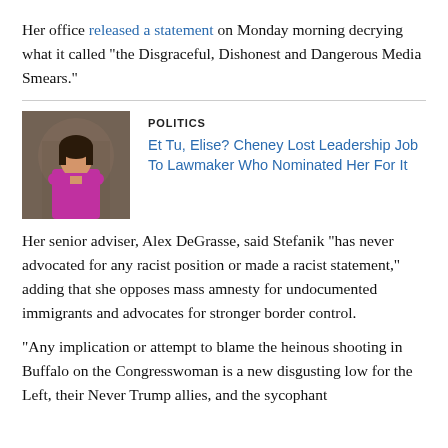Her office released a statement on Monday morning decrying what it called "the Disgraceful, Dishonest and Dangerous Media Smears."
[Figure (photo): Photo of a woman in a pink/magenta blazer standing in front of a decorative background]
POLITICS
Et Tu, Elise? Cheney Lost Leadership Job To Lawmaker Who Nominated Her For It
Her senior adviser, Alex DeGrasse, said Stefanik "has never advocated for any racist position or made a racist statement," adding that she opposes mass amnesty for undocumented immigrants and advocates for stronger border control.
"Any implication or attempt to blame the heinous shooting in Buffalo on the Congresswoman is a new disgusting low for the Left, their Never Trump allies, and the sycophant